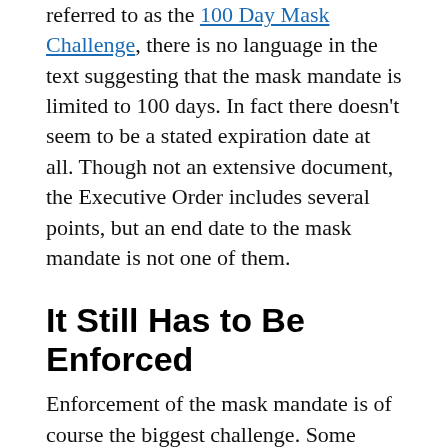referred to as the 100 Day Mask Challenge, there is no language in the text suggesting that the mask mandate is limited to 100 days. In fact there doesn't seem to be a stated expiration date at all. Though not an extensive document, the Executive Order includes several points, but an end date to the mask mandate is not one of them.
It Still Has to Be Enforced
Enforcement of the mask mandate is of course the biggest challenge. Some areas, such as BLM lands, are often so remote there won't be anyone else around to notice if you are wearing a mask or not. National Parks have seen record attendance numbers during the pandemic, so perhaps additional staff or the presence